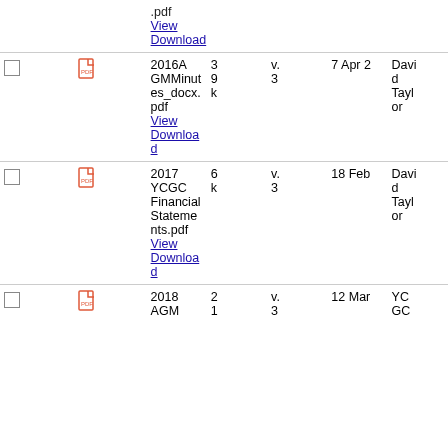|  |  | Name | Size | Ver | Date | Who |
| --- | --- | --- | --- | --- | --- | --- |
|  |  | .pdf
View
Download |  |  |  |  |
| ☐ | pdf | 2016A GMMinutes_docx.pdf
View
Download | 39 k | v. 3 | 7 Apr 2 | David Taylor |
| ☐ | pdf | 2017 YCGC Financial Statements.pdf
View
Download | 6 k | v. 3 | 18 Feb | David Taylor |
| ☐ | pdf | 2018 AGM | 2 1 | v. 3 | 12 Mar | YCGC |